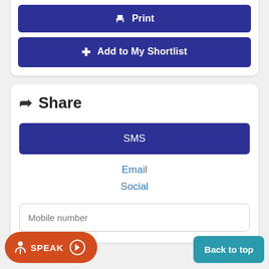[Figure (screenshot): Top card with Print and Add to My Shortlist buttons (dark blue rounded buttons)]
Share
[Figure (screenshot): Share card with SMS button, Email link, Social link, Mobile number input field]
SMS
Email
Social
Mobile number
[Figure (screenshot): SPEAK button (red/orange rounded) and Back to top button (teal) at bottom of page]